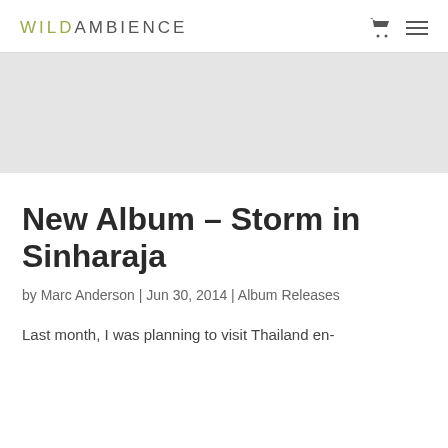WILDAMBIENCE
[Figure (photo): Hero image area - light gray placeholder banner]
New Album – Storm in Sinharaja
by Marc Anderson | Jun 30, 2014 | Album Releases
Last month, I was planning to visit Thailand en-